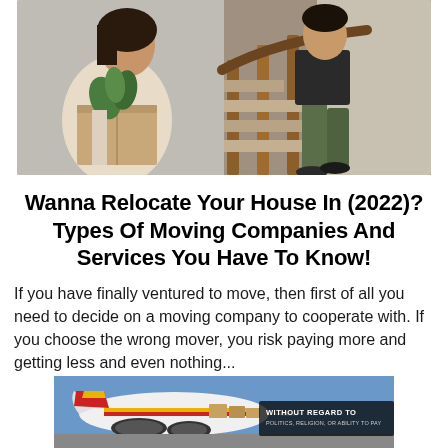[Figure (photo): Two people moving house: a woman in a beige coat carrying a cardboard box with a plant, and a man in green pants walking up a staircase with wooden railings.]
Wanna Relocate Your House In (2022)? Types Of Moving Companies And Services You Have To Know!
If you have finally ventured to move, then first of all you need to decide on a moving company to cooperate with. If you choose the wrong mover, you risk paying more and getting less and even nothing...
[Figure (photo): Advertisement banner showing an airplane being loaded with cargo, with text overlay reading 'WITHOUT REGARD TO POLITICS, RELIGION, OR ABILITY TO PAY'.]